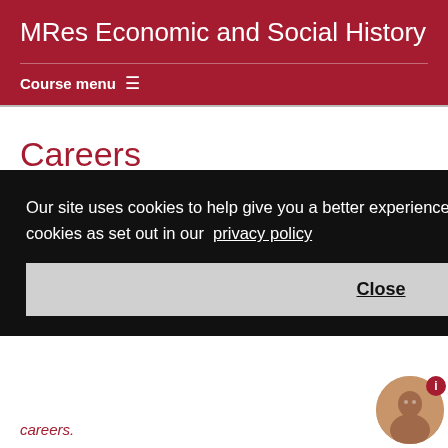MRes Economic and Social History
Course menu ≡
Careers
A degree in Economic and Social History, will provide you with opportunities to develop your future career ideas and how their careers.
Our site uses cookies to help give you a better experience. By continuing to use it you consent to the use of cookies as set out in our privacy policy
Close